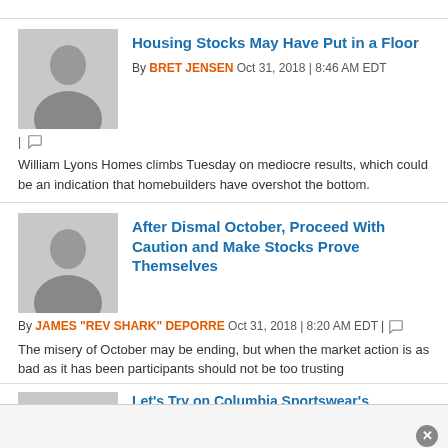[Figure (photo): Headshot of Bret Jensen, man in suit with light background]
Housing Stocks May Have Put in a Floor
By BRET JENSEN  Oct 31, 2018 | 8:46 AM EDT
William Lyons Homes climbs Tuesday on mediocre results, which could be an indication that homebuilders have overshot the bottom.
[Figure (photo): Headshot of James Rev Shark DePorre, man in suit with light background]
After Dismal October, Proceed With Caution and Make Stocks Prove Themselves
By JAMES "REV SHARK" DEPORRE  Oct 31, 2018 | 8:20 AM EDT
The misery of October may be ending, but when the market action is as bad as it has been participants should not be too trusting
[Figure (photo): Partially visible headshot of third article author]
Let's Try on Columbia Sportswear's